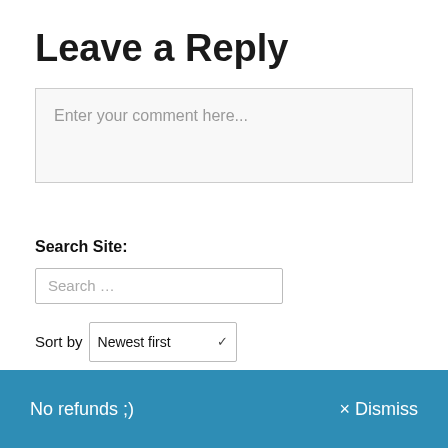Leave a Reply
Enter your comment here...
Search Site:
Search …
Sort by Newest first
No refunds ;)   × Dismiss